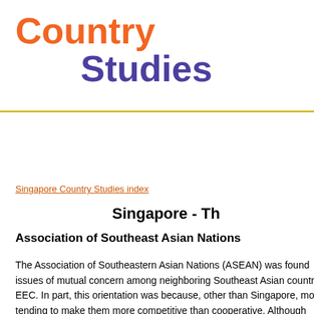Country Studies
Singapore Country Studies index
Singapore - Th
Association of Southeast Asian Nations
The Association of Southeastern Asian Nations (ASEAN) was found issues of mutual concern among neighboring Southeast Asian countr EEC. In part, this orientation was because, other than Singapore, mo tending to make them more competitive than cooperative. Although